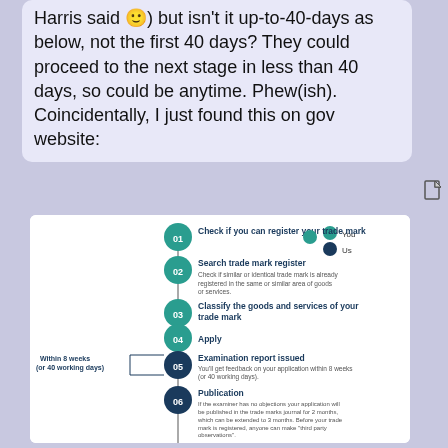Harris said 🙂) but isn't it up-to-40-days as below, not the first 40 days? They could proceed to the next stage in less than 40 days, so could be anytime. Phew(ish). Coincidentally, I just found this on gov website:
[Figure (flowchart): UK government trade mark registration process flowchart showing 7+ steps: 01 Check if you can register your trade mark, 02 Search trade mark register, 03 Classify the goods and services of your trade mark, 04 Apply, 05 Examination report issued (Within 8 weeks or 40 working days), 06 Publication, Opposition, 07 Registered, with legend showing You (teal) and Us (dark blue)]